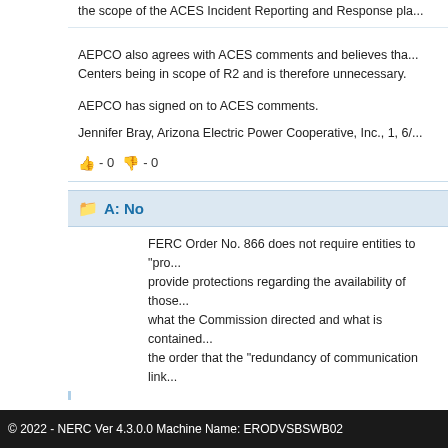the scope of the ACES Incident Reporting and Response plan...
AEPCO also agrees with ACES comments and believes that Centers being in scope of R2 and is therefore unnecessary.
AEPCO has signed on to ACES comments.
Jennifer Bray, Arizona Electric Power Cooperative, Inc., 1, 6/...
👍 - 0 👎 - 0
A: No
FERC Order No. 866 does not require entities to "pro... provide protections regarding the availability of those... what the Commission directed and what is contained... the order that the "redundancy of communication link...
© 2022 - NERC Ver 4.3.0.0 Machine Name: ERODVSBSWB02